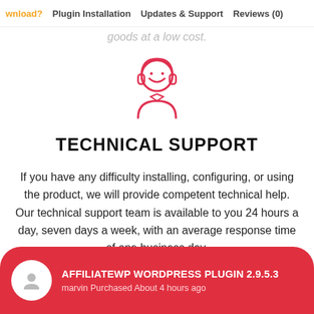wnload?  Plugin Installation  Updates & Support  Reviews (0)
goods at a low cost.
[Figure (illustration): Red line-art icon of a customer support agent wearing a headset and bow tie]
TECHNICAL SUPPORT
If you have any difficulty installing, configuring, or using the product, we will provide competent technical help. Our technical support team is available to you 24 hours a day, seven days a week, with an average response time of one business day.
AFFILIATEWP WORDPRESS PLUGIN 2.9.5.3
marvin Purchased About 4 hours ago